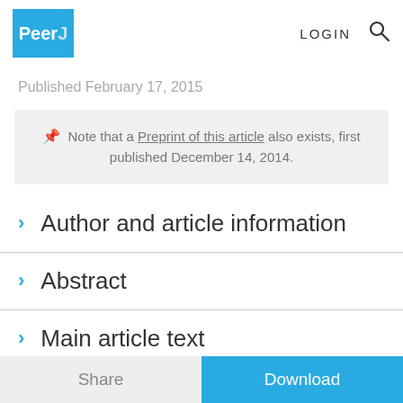PeerJ | LOGIN | Search
Published February 17, 2015
📌 Note that a Preprint of this article also exists, first published December 14, 2014.
Author and article information
Abstract
Main article text
Share | Download